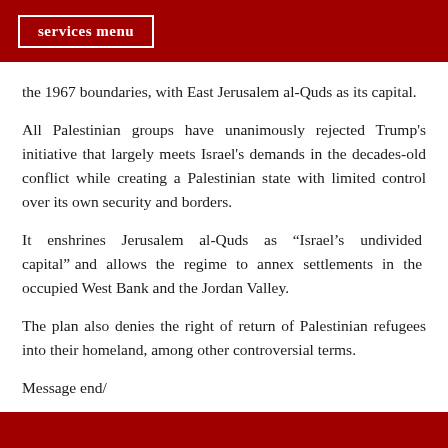services menu
the 1967 boundaries, with East Jerusalem al-Quds as its capital.
All Palestinian groups have unanimously rejected Trump's initiative that largely meets Israel's demands in the decades-old conflict while creating a Palestinian state with limited control over its own security and borders.
It enshrines Jerusalem al-Quds as “Israel’s undivided capital” and allows the regime to annex settlements in the occupied West Bank and the Jordan Valley.
The plan also denies the right of return of Palestinian refugees into their homeland, among other controversial terms.
Message end/